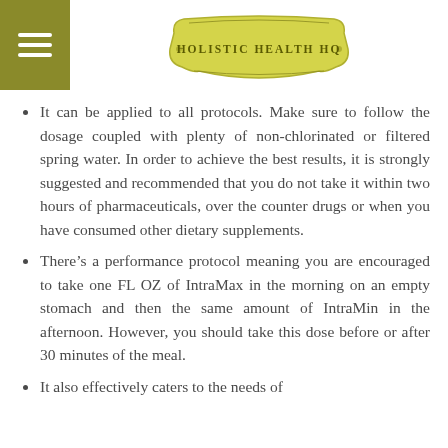HOLISTIC HEALTH HQ
It can be applied to all protocols. Make sure to follow the dosage coupled with plenty of non-chlorinated or filtered spring water. In order to achieve the best results, it is strongly suggested and recommended that you do not take it within two hours of pharmaceuticals, over the counter drugs or when you have consumed other dietary supplements.
There’s a performance protocol meaning you are encouraged to take one FL OZ of IntraMax in the morning on an empty stomach and then the same amount of IntraMin in the afternoon. However, you should take this dose before or after 30 minutes of the meal.
It also effectively caters to the needs of